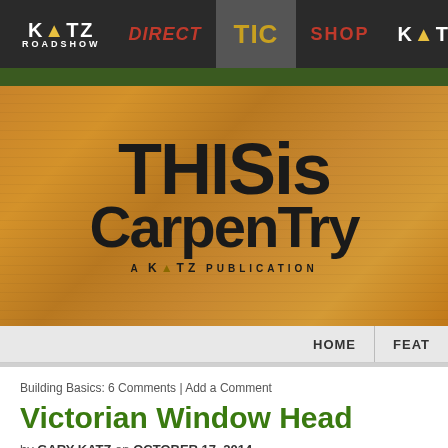[Figure (screenshot): Website navigation bar with Katz Roadshow, Direct, TiC (This is Carpentry), Shop, and Katz menu items on dark background]
[Figure (logo): THISisCarpentry logo on wood-grain background with 'A KATZ PUBLICATION' subtitle]
HOME | FEAT
Building Basics: 6 Comments | Add a Comment
Victorian Window Head
by GARY KATZ on OCTOBER 17, 2014
For the last six or seven years, I've included some type of architectura... Finish Carpentry Clinics at Katz Roadshow events. For most of that t...